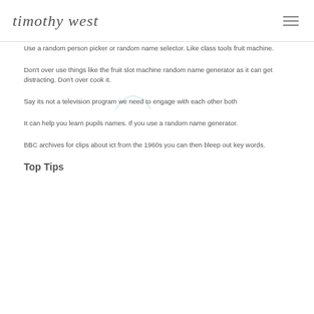timothy west
Use a random person picker or random name selector. Like class tools fruit machine.
Don't over use things like the fruit slot machine random name generator as it can get distracting. Don't over cook it.
Say its not a television program we need to engage with each other both
It can help you learn pupils names. If you use a random name generator.
BBC archives for clips about ict from the 1960s you can then bleep out key words.
Top Tips